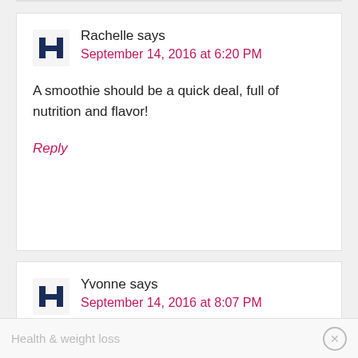Rachelle says
September 14, 2016 at 6:20 PM
A smoothie should be a quick deal, full of nutrition and flavor!
Reply
Yvonne says
September 14, 2016 at 8:07 PM
Health & weight loss